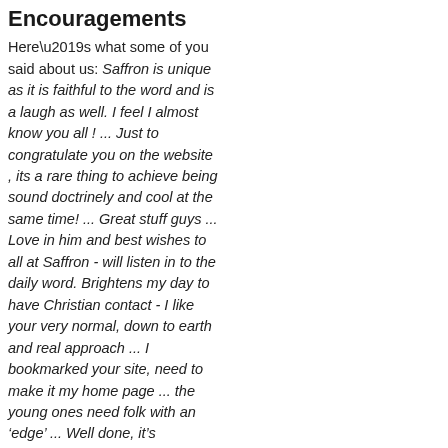Encouragements
Here’s what some of you said about us: Saffron is unique as it is faithful to the word and is a laugh as well. I feel I almost know you all ! ... Just to congratulate you on the website , its a rare thing to achieve being sound doctrinely and cool at the same time! ... Great stuff guys ... Love in him and best wishes to all at Saffron - will listen in to the daily word. Brightens my day to have Christian contact - I like your very normal, down to earth and real approach ... I bookmarked your site, need to make it my home page ... the young ones need folk with an ‘edge’ ... Well done, it’s impressive and sounds good! “Good conversation on thought-provoking subjects. Leaves you